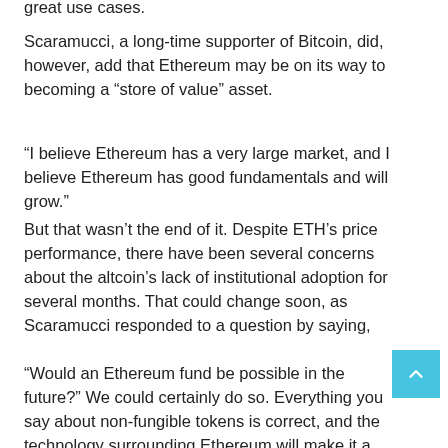great use cases.
Scaramucci, a long-time supporter of Bitcoin, did, however, add that Ethereum may be on its way to becoming a “store of value” asset.
“I believe Ethereum has a very large market, and I believe Ethereum has good fundamentals and will grow.”
But that wasn’t the end of it. Despite ETH’s price performance, there have been several concerns about the altcoin’s lack of institutional adoption for several months. That could change soon, as Scaramucci responded to a question by saying,
“Would an Ethereum fund be possible in the future?” We could certainly do so. Everything you say about non-fungible tokens is correct, and the technology surrounding Ethereum will make it a sticky cryptocurrency, a store of value, and something that people will transact with.”